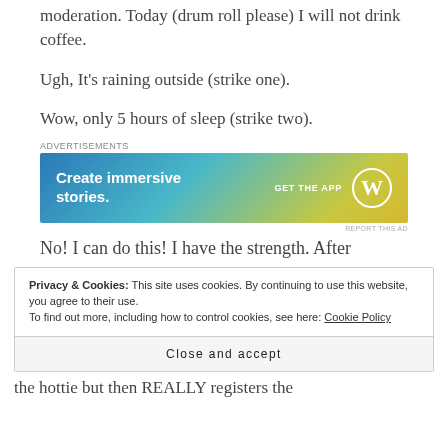moderation. Today (drum roll please) I will not drink coffee.
Ugh, It’s raining outside (strike one).
Wow, only 5 hours of sleep (strike two).
[Figure (other): Advertisement banner for WordPress app: 'Create immersive stories. GET THE APP' with WordPress logo on gradient blue-yellow background]
No! I can do this! I have the strength. After
Privacy & Cookies: This site uses cookies. By continuing to use this website, you agree to their use.
To find out more, including how to control cookies, see here: Cookie Policy
Close and accept
the hottie but then REALLY registers the